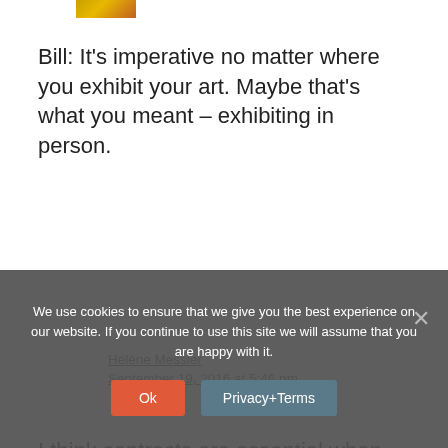[Figure (photo): Small thumbnail image in top left corner, appears to show artwork or a painting with orange/gold tones]
Bill: It's imperative no matter where you exhibit your art. Maybe that's what you meant – exhibiting in person.
Hélène Messier
September 19, 2016 at 5:46 pm
I think contracts are essential when doing business. Showing and selling art is doing
We use cookies to ensure that we give you the best experience on our website. If you continue to use this site we will assume that you are happy with it.